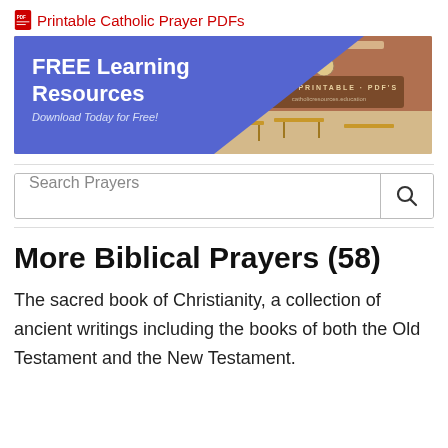Printable Catholic Prayer PDFs
[Figure (illustration): Banner advertisement for FREE Learning Resources - Download Today for Free! catholicresources.education, with classroom background image]
Search Prayers
More Biblical Prayers (58)
The sacred book of Christianity, a collection of ancient writings including the books of both the Old Testament and the New Testament.